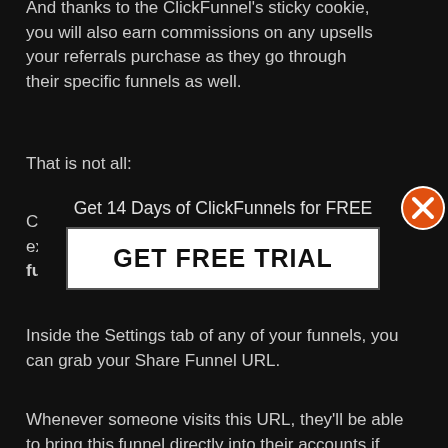And thanks to the ClickFunnel's sticky cookie, you will also earn commissions on any upsells your referrals purchase as they go through their specific funnels as well.
That is not all:
Clickfunnels JVzoo Affiliate also has another excellent feature for affiliates called share funnels.
[Figure (other): Modal popup banner with text 'Get 14 Days of ClickFunnels for FREE' and a white button labeled 'GET FREE TRIAL', with an orange X close button in the top right corner]
Inside the Settings tab of any of your funnels, you can grab your Share Funnel URL.
Whenever someone visits this URL, they'll be able to bring this funnel directly into their accounts if